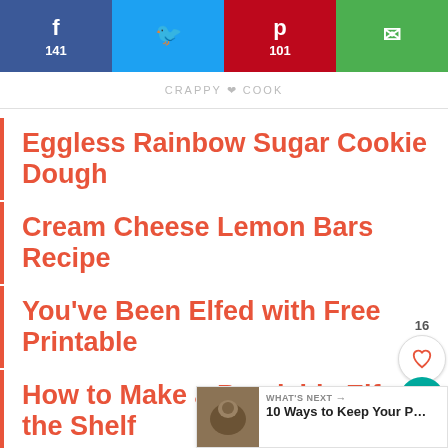[Figure (screenshot): Social share bar with Facebook (141), Twitter, Pinterest (101), and Email buttons]
CRAPPY COOK
Eggless Rainbow Sugar Cookie Dough
Cream Cheese Lemon Bars Recipe
You've Been Elfed with Free Printable
How to Make a Bendable Elf on the Shelf
Elf on the Shelf Teaches Kids About Sanitizing Hands
Elf on The Shelf Uses Face Mask Hammock
[Figure (infographic): Floating like/save/share widget showing 16 likes, 243 saves]
[Figure (screenshot): What's Next panel: 10 Ways to Keep Your P...]